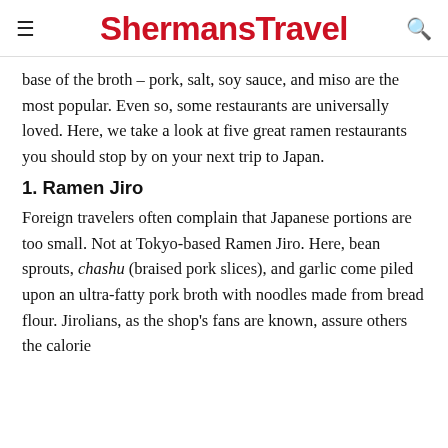ShermansTravel
base of the broth – pork, salt, soy sauce, and miso are the most popular. Even so, some restaurants are universally loved. Here, we take a look at five great ramen restaurants you should stop by on your next trip to Japan.
1. Ramen Jiro
Foreign travelers often complain that Japanese portions are too small. Not at Tokyo-based Ramen Jiro. Here, bean sprouts, chashu (braised pork slices), and garlic come piled upon an ultra-fatty pork broth with noodles made from bread flour. Jirolians, as the shop's fans are known, assure others the calorie